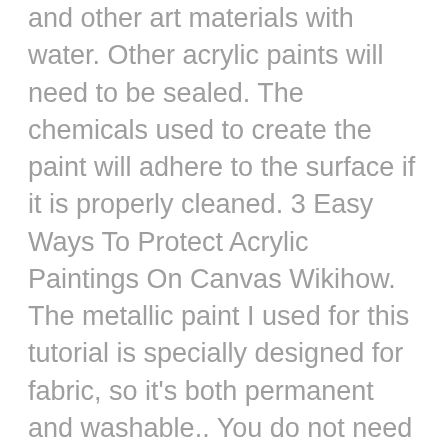and other art materials with water. Other acrylic paints will need to be sealed. The chemicals used to create the paint will adhere to the surface if it is properly cleaned. 3 Easy Ways To Protect Acrylic Paintings On Canvas Wikihow. The metallic paint I used for this tutorial is specially designed for fabric, so it's both permanent and washable.. You do not need to seal this acrylic paint once you have painted your canvas.. I black is easy to paint over if your paint slips off the main painting, but it will depend on the colour palette you intend you use in the main painting because as you say, the sides shouldn't overshadow the painting itself. This will fade the color of the paint and make it look faded. How To Seal Tempera Paint On Canvas (With Examples), How to Make an Animatic: 10 Simple Steps Tutorial.